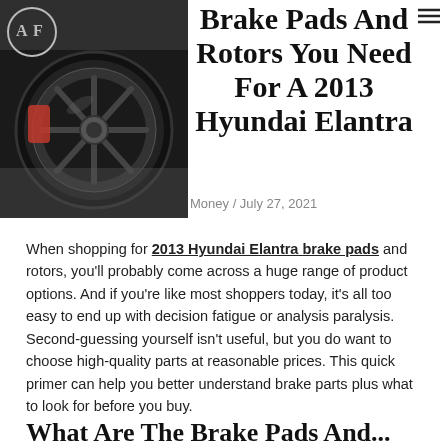[Figure (photo): A black sports car wheel with red brake caliper, close-up shot]
Brake Pads And Rotors You Need For A 2013 Hyundai Elantra
Money / July 27, 2021
When shopping for 2013 Hyundai Elantra brake pads and rotors, you'll probably come across a huge range of product options. And if you're like most shoppers today, it's all too easy to end up with decision fatigue or analysis paralysis. Second-guessing yourself isn't useful, but you do want to choose high-quality parts at reasonable prices. This quick primer can help you better understand brake parts plus what to look for before you buy.
What Are The Brake Pads And...